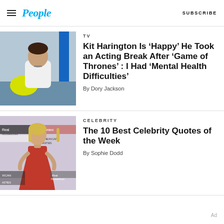People — SUBSCRIBE
[Figure (photo): Photo of Kit Harington in a white t-shirt seated outdoors near a river]
TV
Kit Harington Is ‘Happy’ He Took an Acting Break After ‘Game of Thrones’ : I Had ‘Mental Health Difficulties’
By Dory Jackson
[Figure (photo): Photo of a blonde woman in a red dress at a Real Housewives / Mexican Dynasties event]
CELEBRITY
The 10 Best Celebrity Quotes of the Week
By Sophie Dodd
Ad